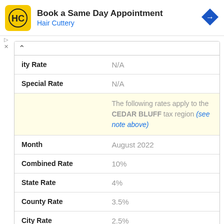[Figure (logo): Hair Cuttery advertisement banner with HC logo, text 'Book a Same Day Appointment' and 'Hair Cuttery', and a blue navigation arrow icon]
| City Rate | N/A |
| Special Rate | N/A |
|  | The following rates apply to the CEDAR BLUFF tax region (see note above) |
| Month | August 2022 |
| Combined Rate | 10% |
| State Rate | 4% |
| County Rate | 3.5% |
| City Rate | 2.5% |